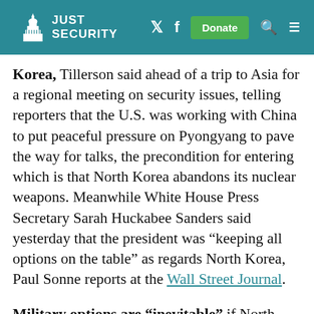JUST SECURITY
Korea, Tillerson said ahead of a trip to Asia for a regional meeting on security issues, telling reporters that the U.S. was working with China to put peaceful pressure on Pyongyang to pave the way for talks, the precondition for entering which is that North Korea abandons its nuclear weapons. Meanwhile White House Press Secretary Sarah Huckabee Sanders said yesterday that the president was “keeping all options on the table” as regards North Korea, Paul Sonne reports at the Wall Street Journal.
Military options are “inevitable” if North Korea continues to develop nuclear weapons